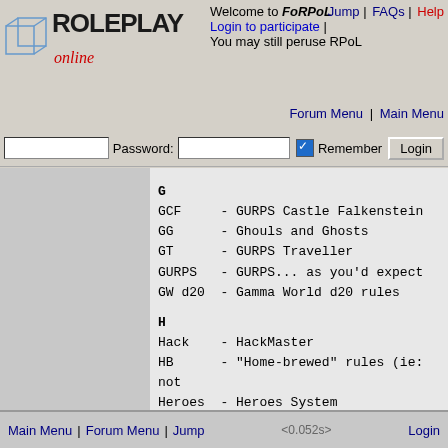[Figure (logo): RolePlay Online logo with cube icon and stylized text]
Welcome to FoRPoL
Login to participate
You may still peruse RPoL
Jump | FAQs | Help
Forum Menu | Main Menu
FC    Fading Syne
Password:  [input] Remember [checkbox] Login
G
GCF     - GURPS Castle Falkenstein
GG      - Ghouls and Ghosts
GT      - GURPS Traveller
GURPS   - GURPS... as you'd expect
GW d20  - Gamma World d20 rules
H
Hack    - HackMaster
HB      - "Home-brewed" rules (ie: not
Heroes  - Heroes System
HU      - Heroes Unlimited
HU2d    - Heroes Unlimited 2nd Edition
HW      - Hero Wars
I
=][=    - Inquisitor
IN      - In Nominé
J
JD d20  - Judge Dredd d20
Main Menu | Forum Menu | Jump    <0.052s    Login